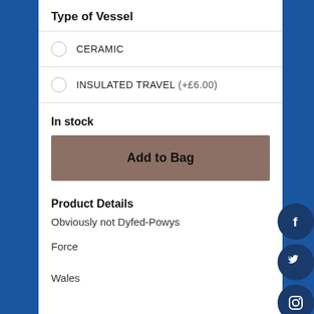Type of Vessel
CERAMIC
INSULATED TRAVEL (+£6.00)
In stock
Add to Bag
Product Details
Obviously not Dyfed-Powys
Force
Wales